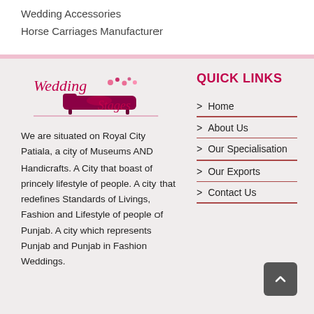Wedding Accessories
Horse Carriages Manufacturer
[Figure (logo): Wedding Stages decorative logo with cursive text and illustrated chaise lounge]
We are situated on Royal City Patiala, a city of Museums AND Handicrafts. A City that boast of princely lifestyle of people. A city that redefines Standards of Livings, Fashion and Lifestyle of people of Punjab. A city which represents Punjab and Punjab in Fashion Weddings.
QUICK LINKS
Home
About Us
Our Specialisation
Our Exports
Contact Us